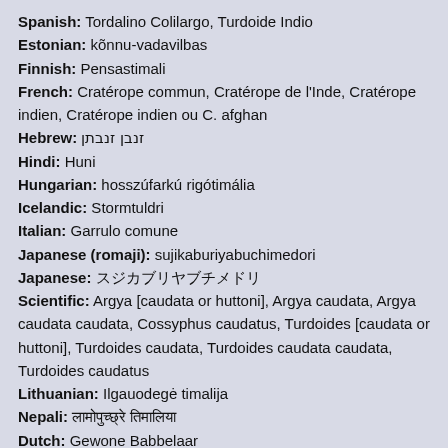Spanish: Tordalino Colilargo, Turdoide Indio
Estonian: kõnnu-vadavilbas
Finnish: Pensastimali
French: Cratérope commun, Cratérope de l'Inde, Cratérope indien, Cratérope indien ou C. afghan
Hebrew: זנבן זנבתן
Hindi: Huni
Hungarian: hosszúfarkú rigótimália
Icelandic: Stormtuldri
Italian: Garrulo comune
Japanese (romaji): sujikaburiyabuchimedori
Japanese: スジカブリヤブチメドリ
Scientific: Argya [caudata or huttoni], Argya caudata, Argya caudata caudata, Cossyphus caudatus, Turdoides [caudata or huttoni], Turdoides caudata, Turdoides caudata caudata, Turdoides caudatus
Lithuanian: Ilgauodegė timalija
Nepali: लामोपुच्छ्रे तिमालिया
Dutch: Gewone Babbelaar